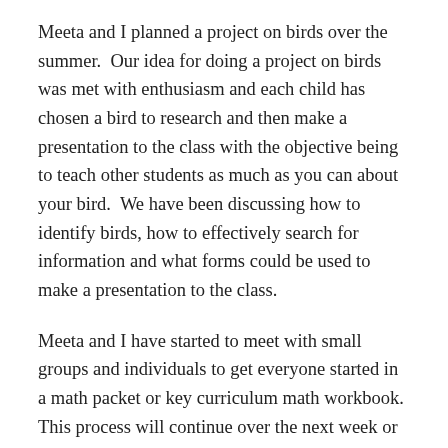Meeta and I planned a project on birds over the summer.  Our idea for doing a project on birds was met with enthusiasm and each child has chosen a bird to research and then make a presentation to the class with the objective being to teach other students as much as you can about your bird.  We have been discussing how to identify birds, how to effectively search for information and what forms could be used to make a presentation to the class.
Meeta and I have started to meet with small groups and individuals to get everyone started in a math packet or key curriculum math workbook.  This process will continue over the next week or so until